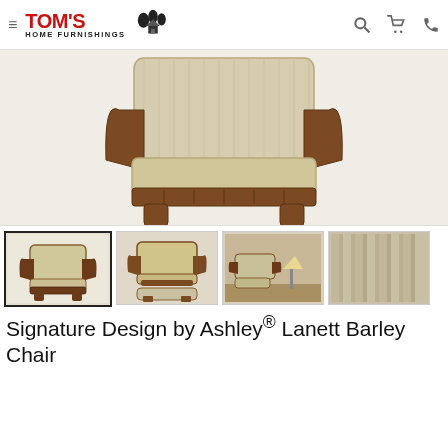Tom's Home Furnishings navigation header
[Figure (photo): Close-up product photo of a Signature Design by Ashley Lanett Barley Chair, showing the front and side with beige/barley fabric upholstery and dark walnut-tone wood trim arms and legs]
[Figure (photo): Thumbnail 1 (selected): Front view of the Lanett Barley Chair alone on white background]
[Figure (photo): Thumbnail 2: Side/angled view of the Lanett Barley Chair with ottoman]
[Figure (photo): Thumbnail 3: Room scene with the Lanett Barley Chair and ottoman in a living room setting]
[Figure (photo): Thumbnail 4: Close-up of the barley fabric texture]
Signature Design by Ashley® Lanett Barley Chair